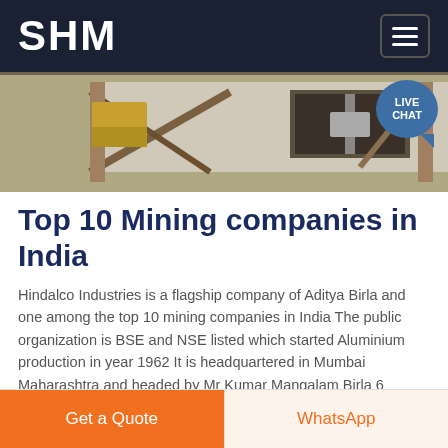SHM
[Figure (photo): Construction or mining site photo showing machinery, concrete structure with window/opening, metal beams and scaffolding]
Top 10 Mining companies in India
Hindalco Industries is a flagship company of Aditya Birla and one among the top 10 mining companies in India The public organization is BSE and NSE listed which started Aluminium production in year 1962 It is headquartered in Mumbai Maharashtra and headed by Mr Kumar Mangalam Birla 6 Hindustan Copper Limited.